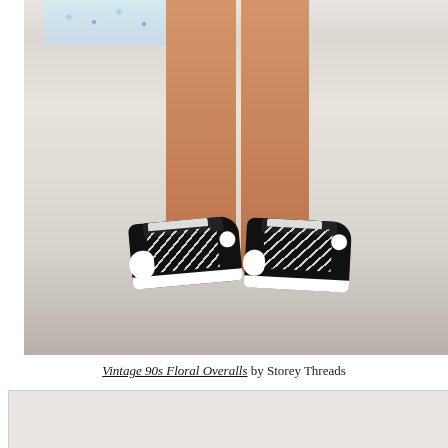[Figure (photo): Lower body of a person wearing floral overalls/shorts and black and white high-top Converse sneakers, standing against a white background]
Vintage 90s Floral Overalls by Storey Threads
[Figure (photo): Partially visible second image at the bottom of the page, appears to be another fashion photo with light background]